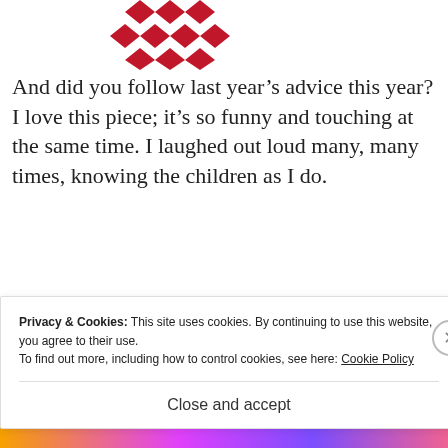[Figure (logo): Red decorative logo/icon at top center]
And did you follow last year’s advice this year? I love this piece; it’s so funny and touching at the same time. I laughed out loud many, many times, knowing the children as I do.
REPLY
[Figure (photo): Circular avatar photo of Jennifer Berney]
Jennifer Berney
Privacy & Cookies: This site uses cookies. By continuing to use this website, you agree to their use.
To find out more, including how to control cookies, see here: Cookie Policy
Close and accept